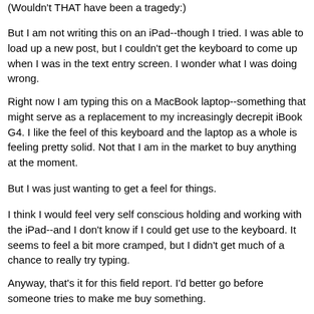(Wouldn't THAT have been a tragedy:)
But I am not writing this on an iPad--though I tried. I was able to load up a new post, but I couldn't get the keyboard to come up when I was in the text entry screen. I wonder what I was doing wrong.
Right now I am typing this on a MacBook laptop--something that might serve as a replacement to my increasingly decrepit iBook G4. I like the feel of this keyboard and the laptop as a whole is feeling pretty solid. Not that I am in the market to buy anything at the moment.
But I was just wanting to get a feel for things.
I think I would feel very self conscious holding and working with the iPad--and I don't know if I could get use to the keyboard. It seems to feel a bit more cramped, but I didn't get much of a chance to really try typing.
Anyway, that's it for this field report. I'd better go before someone tries to make me buy something.